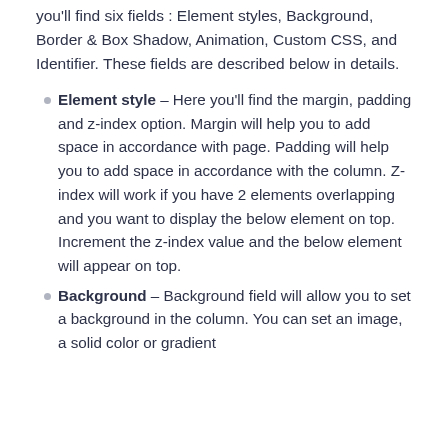you'll find six fields : Element styles, Background, Border & Box Shadow, Animation, Custom CSS, and Identifier. These fields are described below in details.
Element style - Here you'll find the margin, padding and z-index option. Margin will help you to add space in accordance with page. Padding will help you to add space in accordance with the column. Z-index will work if you have 2 elements overlapping and you want to display the below element on top. Increment the z-index value and the below element will appear on top.
Background - Background field will allow you to set a background in the column. You can set an image, a solid color or gradient